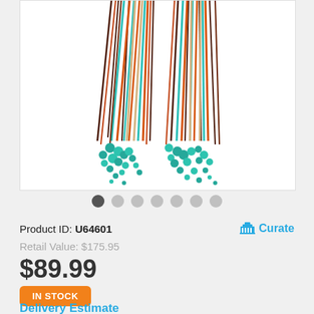[Figure (photo): Two beaded fringe earrings with colorful strands (teal, orange, brown, cream) and turquoise bead clusters at bottom, displayed on white background]
Product ID: U64601
Curate
Retail Value: $175.95
$89.99
IN STOCK
Delivery Estimate